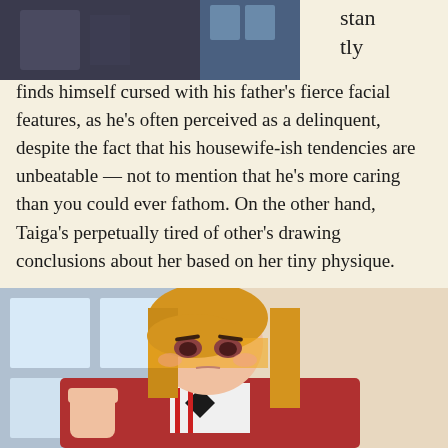[Figure (illustration): Partial anime screenshot at top showing a character in dark clothing, cropped at top of page]
stantly finds himself cursed with his father's fierce facial features, as he's often perceived as a delinquent, despite the fact that his housewife-ish tendencies are unbeatable — not to mention that he's more caring than you could ever fathom. On the other hand, Taiga's perpetually tired of other's drawing conclusions about her based on her tiny physique.
[Figure (illustration): Anime screenshot of Taiga, a girl with long blonde hair, red uniform jacket, white bow/ribbon, shown with a raised fist and intense expression, looking at viewer]